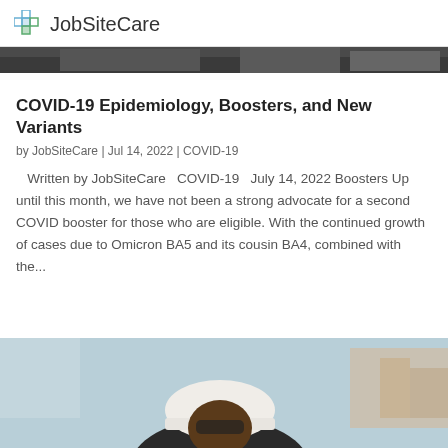JobSiteCare
[Figure (photo): Cropped top portion of an outdoor photo, dark tones, appears to be a job site scene]
COVID-19 Epidemiology, Boosters, and New Variants
by JobSiteCare | Jul 14, 2022 | COVID-19
Written by JobSiteCare   COVID-19   July 14, 2022 Boosters Up until this month, we have not been a strong advocate for a second COVID booster for those who are eligible. With the continued growth of cases due to Omicron BA5 and its cousin BA4, combined with the...
[Figure (photo): Worker wearing a white hard hat at a construction site, light blue sky background]